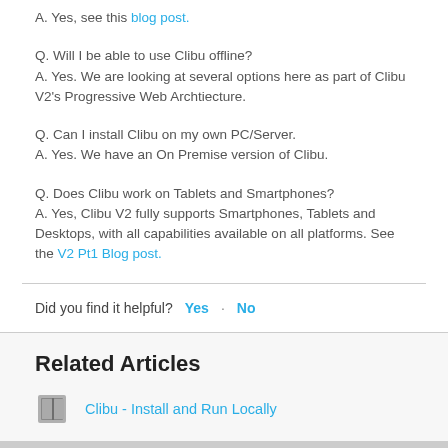A. Yes, see this blog post.
Q. Will I be able to use Clibu offline?
A. Yes. We are looking at several options here as part of Clibu V2's Progressive Web Archtiecture.
Q. Can I install Clibu on my own PC/Server.
A. Yes. We have an On Premise version of Clibu.
Q. Does Clibu work on Tablets and Smartphones?
A. Yes, Clibu V2 fully supports Smartphones, Tablets and Desktops, with all capabilities available on all platforms. See the V2 Pt1 Blog post.
Did you find it helpful? Yes · No
Related Articles
Clibu - Install and Run Locally